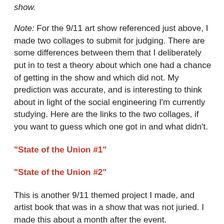show.
Note: For the 9/11 art show referenced just above, I made two collages to submit for judging. There are some differences between them that I deliberately put in to test a theory about which one had a chance of getting in the show and which did not. My prediction was accurate, and is interesting to think about in light of the social engineering I'm currently studying. Here are the links to the two collages, if you want to guess which one got in and what didn't.
“State of the Union #1”
“State of the Union #2”
This is another 9/11 themed project I made, and artist book that was in a show that was not juried. I made this about a month after the event.